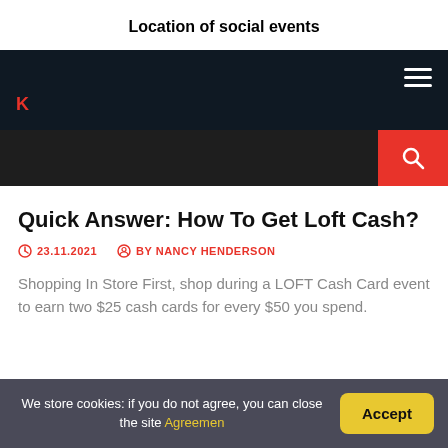Location of social events
[Figure (screenshot): Dark navigation bar with hamburger menu icon on the right and a red letter icon on the bottom left]
[Figure (screenshot): Dark search bar with red search button on the right]
Quick Answer: How To Get Loft Cash?
23.11.2021   BY NANCY HENDERSON
Shopping In Store First, shop during a LOFT Cash Card event to earn two $25 cash cards for every $50 you spend.
We store cookies: if you do not agree, you can close the site Agreemen